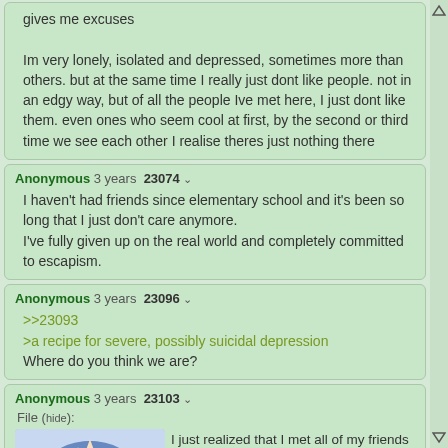gives me excuses

Im very lonely, isolated and depressed, sometimes more than others. but at the same time I really just dont like people. not in an edgy way, but of all the people Ive met here, I just dont like them. even ones who seem cool at first, by the second or third time we see each other I realise theres just nothing there
Anonymous 3 years 23074
I haven't had friends since elementary school and it's been so long that I just don't care anymore.
I've fully given up on the real world and completely committed to escapism.
Anonymous 3 years 23096
>>23093
>a recipe for severe, possibly suicidal depression
Where do you think we are?
Anonymous 3 years 23103
File (hide):
I just realized that I met all of my friends through internet. But at least I have some irl
[Figure (illustration): Anime girl with blue hair, partial face visible, drawn in typical anime style]